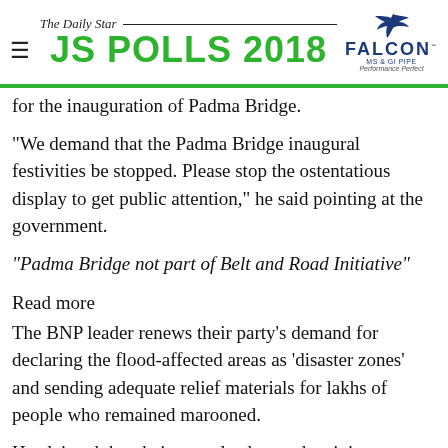The Daily Star — JS POLLS 2018 | FALCON MS & GI PIPE Performance Perfect
for the inauguration of Padma Bridge.
"We demand that the Padma Bridge inaugural festivities be stopped. Please stop the ostentatious display to get public attention," he said pointing at the government.
“Padma Bridge not part of Belt and Road Initiative”
Read more
The BNP leader renews their party's demand for declaring the flood-affected areas as 'disaster zones' and sending adequate relief materials for lakhs of people who remained marooned.
He claimed that their party leaders and activists are distributing relief materials and helping people to move to safer places in the flood-hit areas.
Rizvi came down heavily on the government for its massive plan for the inauguration of the Padma Bridge amidst the catastrophic flood situation in the